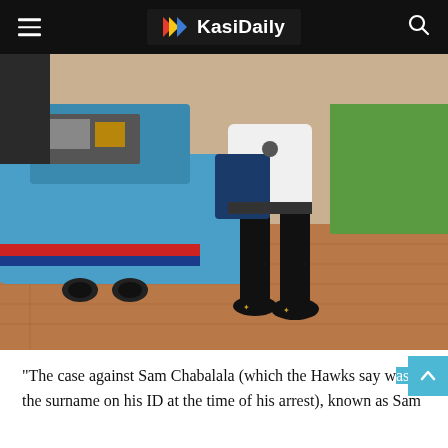KasiDaily
[Figure (photo): A person standing next to a blue BMW sports car, wearing white shirt, black jeans, and black loafers with gold emblem, holding car keys and a blue bag. The car trunk is open showing items inside. Background shows brick/paved driveway and green grass.]
“The case against Sam Chabalala (which the Hawks say was the surname on his ID at the time of his arrest), known as Sam